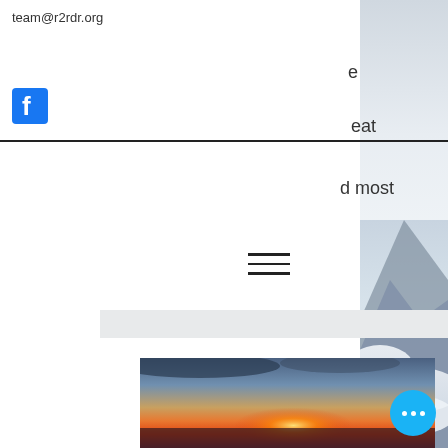team@r2rdr.org
[Figure (logo): Facebook logo icon, blue square with white 'f']
e
eat
d most
[Figure (other): Horizontal black divider line]
[Figure (other): Hamburger menu icon with three horizontal lines]
[Figure (other): Light gray horizontal bar]
[Figure (photo): Blurred sunset photo with orange, red and blue sky tones]
[Figure (other): Blue circular button with three white dots (ellipsis)]
[Figure (photo): Mountain with clouds on right side strip]